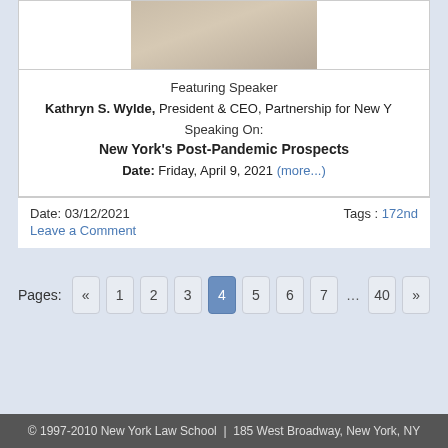[Figure (photo): Partial photo of Kathryn S. Wylde, cropped at top]
Featuring Speaker
Kathryn S. Wylde, President & CEO, Partnership for New Y
Speaking On:
New York's Post-Pandemic Prospects
Date: Friday, April 9, 2021 (more...)
Date: 03/12/2021
Leave a Comment
Tags : 172nd
Pages: « 1 2 3 4 5 6 7 ... 40 »
© 1997-2010 New York Law School | 185 West Broadway, New York, NY